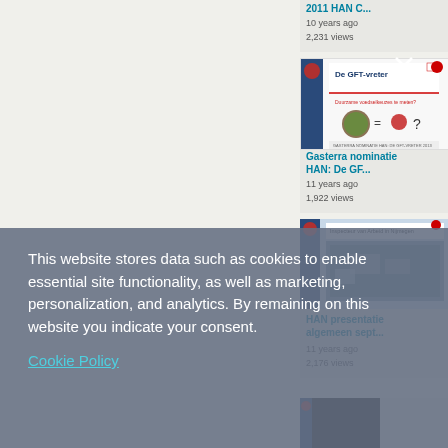2011 HAN C...
10 years ago
2,231 views
[Figure (screenshot): Thumbnail of GFT-vreter document cover with food imagery]
Gasterra nominatie HAN: De GF...
11 years ago
1,922 views
[Figure (screenshot): Thumbnail of HAN presentatie document]
HAN presentatie algemeen sept...
11 years ago
2,176 views
This website stores data such as cookies to enable essential site functionality, as well as marketing, personalization, and analytics. By remaining on this website you indicate your consent.
Cookie Policy